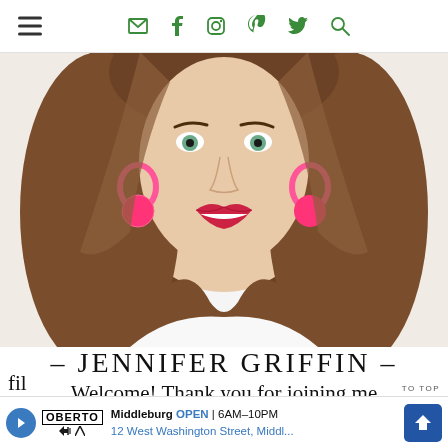Navigation header with hamburger menu and social icons (email, facebook, instagram, pinterest, twitter, search)
[Figure (photo): Portrait photo of Jennifer Griffin, a woman with long wavy brown hair, green eyes, red lipstick, and bright pink pom-pom hoop earrings, wearing a white top, photographed against a white background]
– JENNIFER GRIFFIN –
Welcome!  Thank you for joining me as I share our colorful home w...
fil...
Oberto | Middleburg OPEN | 6AM–10PM | 12 West Washington Street, Middl... | TO TOP